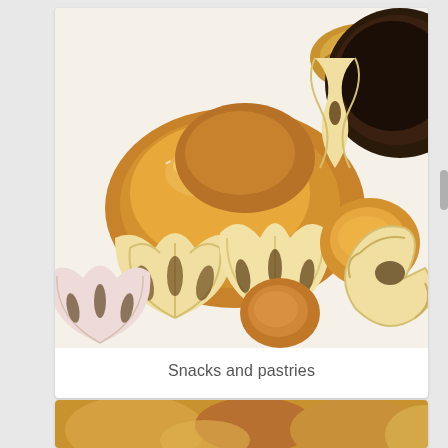[Figure (photo): A collection of various breads, rolls, and pastries including croissants, pretzel rolls, fan-shaped cookies with poppy seed filling, glazed buns, chocolate-covered pastry, and other baked goods arranged on a white background.]
Snacks and pastries
[Figure (photo): Partial view of another baked goods image, cut off at the bottom of the page.]